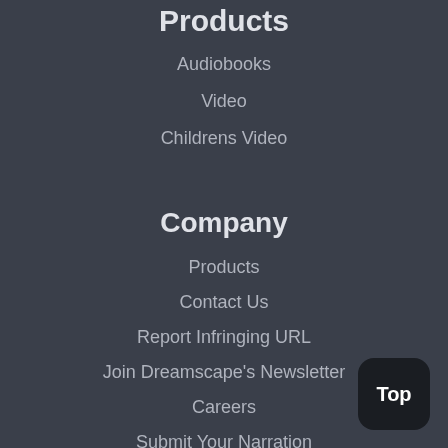Products
Audiobooks
Video
Childrens Video
Company
Products
Contact Us
Report Infringing URL
Join Dreamscape's Newsletter
Careers
Submit Your Narration